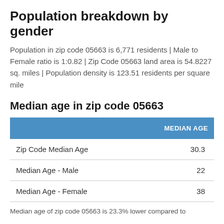Population breakdown by gender
Population in zip code 05663 is 6,771 residents | Male to Female ratio is 1:0.82 | Zip Code 05663 land area is 54.8227 sq. miles | Population density is 123.51 residents per square mile
Median age in zip code 05663
|  | MEDIAN AGE |
| --- | --- |
| Zip Code Median Age | 30.3 |
| Median Age - Male | 22 |
| Median Age - Female | 38 |
Median age of zip code 05663 is 23.3% lower compared to